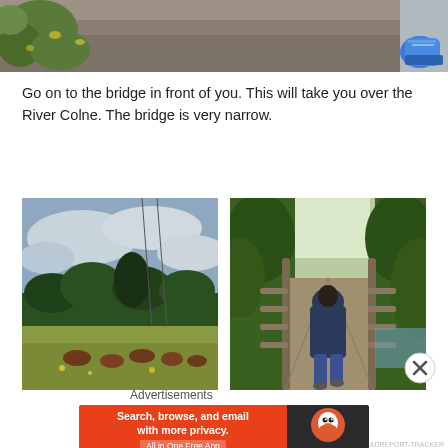[Figure (photo): Top partial photo showing ground/path with green plants on left and a blue sneaker shoe visible on the right, on a gravel/dirt path]
Go on to the bridge in front of you. This will take you over the River Colne. The bridge is very narrow.
[Figure (photo): Left photo: open field with cattle/brown animals grazing, trees in background, cloudy sky, with power lines overhead]
[Figure (photo): Right photo: narrow wooden footbridge over river with a child in dark hoodie and jeans walking away from camera, surrounded by green trees]
Advertisements
[Figure (screenshot): DuckDuckGo advertisement banner: orange left side reading 'Search, browse, and email with more privacy. All in One Free App', dark right side with DuckDuckGo logo and text]